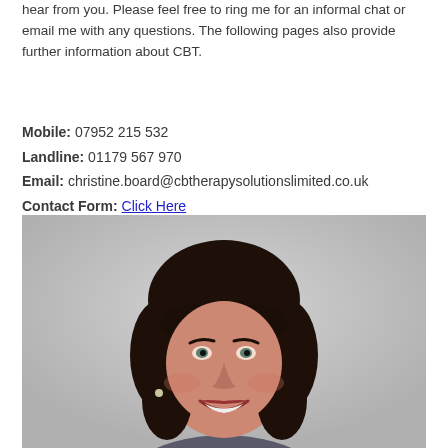hear from you. Please feel free to ring me for an informal chat or email me with any questions. The following pages also provide further information about CBT.
Mobile: 07952 215 532
Landline: 01179 567 970
Email: christine.board@cbtherapysolutionslimited.co.uk
Contact Form: Click Here
[Figure (photo): Portrait photo of a smiling woman with dark hair and bangs against a light gray background.]